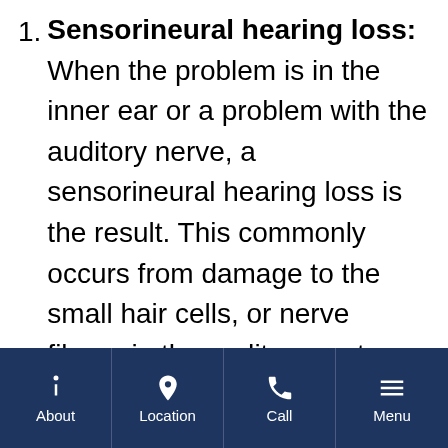Sensorineural hearing loss: When the problem is in the inner ear or a problem with the auditory nerve, a sensorineural hearing loss is the result. This commonly occurs from damage to the small hair cells, or nerve fibers, in the auditory system. Sensorineural hearing loss is the most common type of hearing loss in adults and accounts for more than 90
About | Location | Call | Menu